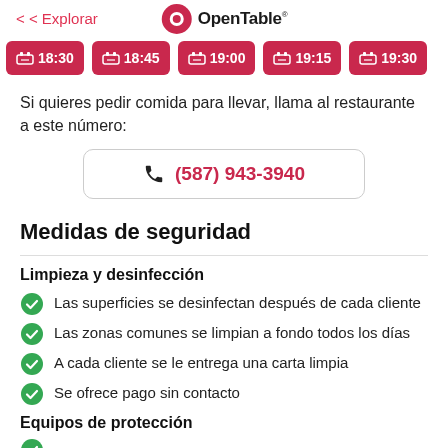< Explorar | OpenTable
[Figure (other): Row of red reservation time slot buttons: 18:30, 18:45, 19:00, 19:15, 19:30]
Si quieres pedir comida para llevar, llama al restaurante a este número:
(587) 943-3940
Medidas de seguridad
Limpieza y desinfección
Las superficies se desinfectan después de cada cliente
Las zonas comunes se limpian a fondo todos los días
A cada cliente se le entrega una carta limpia
Se ofrece pago sin contacto
Equipos de protección